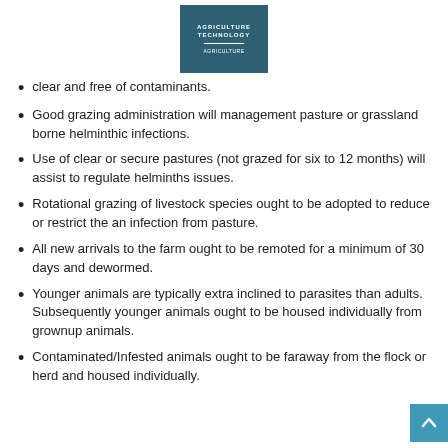[Figure (logo): Agriculture Technology logo — dark teal/blue rectangle with white uppercase text 'AGRICULTURE TECHNOLOGY' and a horizontal divider line]
clear and free of contaminants.
Good grazing administration will management pasture or grassland borne helminthic infections.
Use of clear or secure pastures (not grazed for six to 12 months) will assist to regulate helminths issues.
Rotational grazing of livestock species ought to be adopted to reduce or restrict the an infection from pasture.
All new arrivals to the farm ought to be remoted for a minimum of 30 days and dewormed.
Younger animals are typically extra inclined to parasites than adults. Subsequently younger animals ought to be housed individually from grownup animals.
Contaminated/Infested animals ought to be faraway from the flock or herd and housed individually.